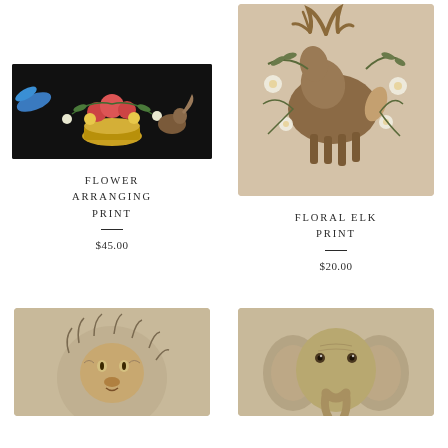[Figure (illustration): Flower arranging artwork on black background with birds, floral arrangement in gold bowl, and squirrel]
[Figure (illustration): Floral elk print on beige background showing an elk with antlers surrounded by white flowers and olive branches]
FLOWER ARRANGING PRINT
$45.00
FLORAL ELK PRINT
$20.00
[Figure (illustration): Sketch illustration of a lion or similar big cat face on beige background]
[Figure (illustration): Illustration of a baby elephant face on beige background]